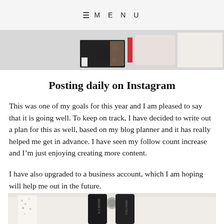≡ MENU
[Figure (photo): Top banner with lifestyle product images - cosmetics, accessories on light background]
Posting daily on Instagram
This was one of my goals for this year and I am pleased to say that it is going well. To keep on track, I have decided to write out a plan for this as well, based on my blog planner and it has really helped me get in advance. I have seen my follow count increase and I'm just enjoying creating more content.
I have also upgraded to a business account, which I am hoping will help me out in the future.
[Figure (photo): Two black cosmetic tubes (Old Brows brand) on a white surface with blurred background]